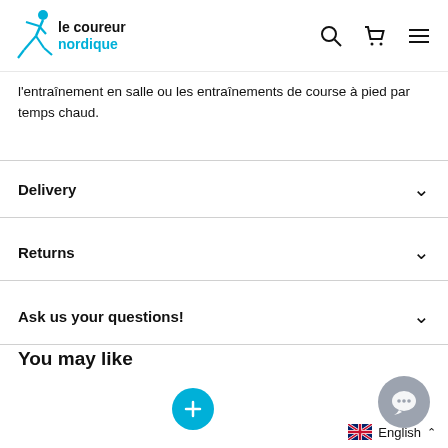le coureur nordique
l'entraînement en salle ou les entraînements de course à pied par temps chaud.
Delivery
Returns
Ask us your questions!
You may like
[Figure (other): Blue circular plus button]
[Figure (other): Grey circular chat/messenger button with ellipsis icon]
English